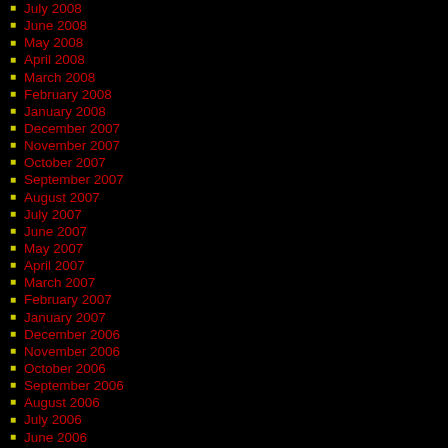July 2008
June 2008
May 2008
April 2008
March 2008
February 2008
January 2008
December 2007
November 2007
October 2007
September 2007
August 2007
July 2007
June 2007
May 2007
April 2007
March 2007
February 2007
January 2007
December 2006
November 2006
October 2006
September 2006
August 2006
July 2006
June 2006
May 2006
April 2006
March 2006